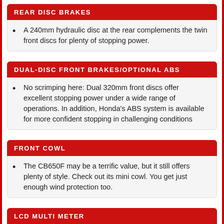REAR DISC BRAKES
A 240mm hydraulic disc at the rear complements the twin front discs for plenty of stopping power.
DUAL-DISC FRONT BRAKES/OPTIONAL ABS
No scrimping here: Dual 320mm front discs offer excellent stopping power under a wide range of operations. In addition, Honda's ABS system is available for more confident stopping in challenging conditions
FRONT COWL
The CB650F may be a terrific value, but it still offers plenty of style. Check out its mini cowl. You get just enough wind protection too.
LCD MULTI METER